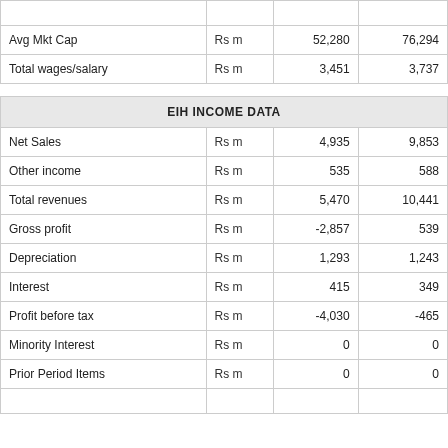|  |  |  |  |
| --- | --- | --- | --- |
| Avg Mkt Cap | Rs m | 52,280 | 76,294 |
| Total wages/salary | Rs m | 3,451 | 3,737 |
| EIH INCOME DATA |  |  |  |
| --- | --- | --- | --- |
| Net Sales | Rs m | 4,935 | 9,853 |
| Other income | Rs m | 535 | 588 |
| Total revenues | Rs m | 5,470 | 10,441 |
| Gross profit | Rs m | -2,857 | 539 |
| Depreciation | Rs m | 1,293 | 1,243 |
| Interest | Rs m | 415 | 349 |
| Profit before tax | Rs m | -4,030 | -465 |
| Minority Interest | Rs m | 0 | 0 |
| Prior Period Items | Rs m | 0 | 0 |